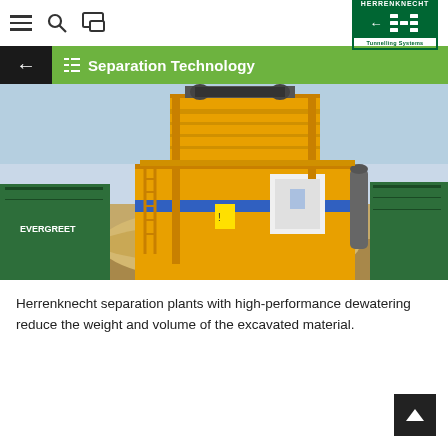[Figure (screenshot): Herrenknecht Tunnelling Systems logo with green H symbol and border]
Separation Technology
[Figure (photo): Large yellow industrial separation plant / dewatering machine on a construction site with piles of excavated sandy material and shipping containers in the background]
Herrenknecht separation plants with high-performance dewatering reduce the weight and volume of the excavated material.